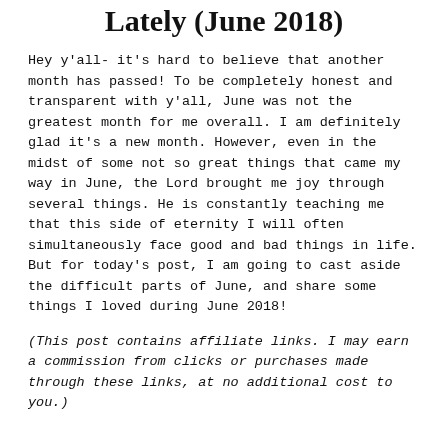Lately (June 2018)
Hey y'all- it's hard to believe that another month has passed! To be completely honest and transparent with y'all, June was not the greatest month for me overall. I am definitely glad it's a new month. However, even in the midst of some not so great things that came my way in June, the Lord brought me joy through several things. He is constantly teaching me that this side of eternity I will often simultaneously face good and bad things in life. But for today's post, I am going to cast aside the difficult parts of June, and share some things I loved during June 2018!
(This post contains affiliate links. I may earn a commission from clicks or purchases made through these links, at no additional cost to you.)